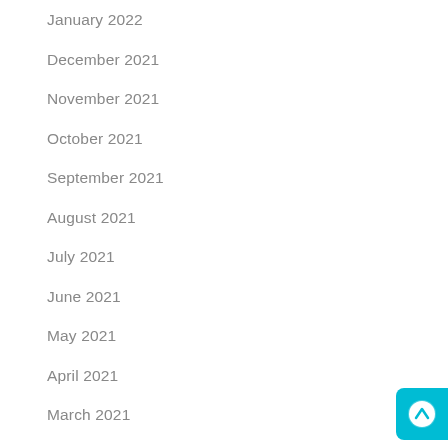January 2022
December 2021
November 2021
October 2021
September 2021
August 2021
July 2021
June 2021
May 2021
April 2021
March 2021
February 2021
January 2021
December 2020
[Figure (other): Teal/cyan scroll-to-top button with upward arrow icon in bottom-right corner]